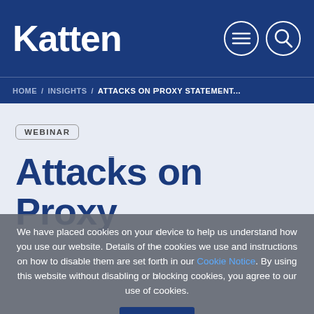Katten
HOME / INSIGHTS / ATTACKS ON PROXY STATEMENT...
WEBINAR
Attacks on Proxy Statement...
We have placed cookies on your device to help us understand how you use our website. Details of the cookies we use and instructions on how to disable them are set forth in our Cookie Notice. By using this website without disabling or blocking cookies, you agree to our use of cookies.